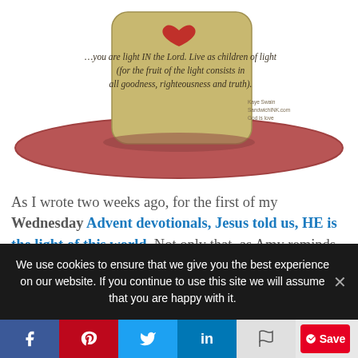[Figure (illustration): Illustrated fedora hat with golden/tan crown and reddish-brown brim. Text on hat reads: '...you are light IN the Lord. Live as children of light (for the fruit of the light consists in all goodness, righteousness and truth).' Small text in lower right of hat: 'Kaye Swain SandwichINK.com God is love']
As I wrote two weeks ago, for the first of my Wednesday Advent devotionals, Jesus told us, HE is the light of this world. Not only that, as Amy reminds us, we are ALSO supposed to let our light shine out to this dark world, that others might see God in and through us. As Paul reminds us in the encouraging Bible verses from Ephesians 5, we are to:
We use cookies to ensure that we give you the best experience on our website. If you continue to use this site we will assume that you are happy with it.
f  Pinterest  Twitter  in  Share  Save